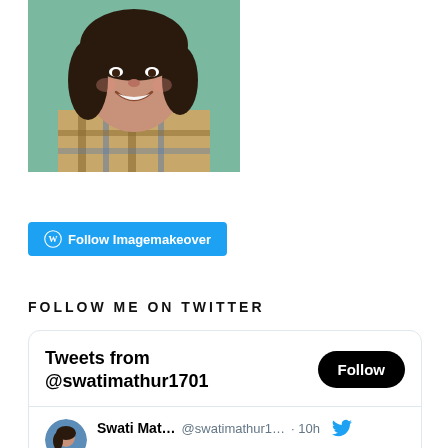[Figure (photo): Profile photo of a smiling woman with dark hair wearing a plaid shirt, seated on a teal couch]
[Figure (screenshot): WordPress Follow Imagemakeover button with cyan/blue background and white WordPress logo]
FOLLOW ME ON TWITTER
[Figure (screenshot): Twitter widget showing 'Tweets from @swatimathur1701' with a Follow button, and a tweet entry from Swati Mat... @swatimathur1... · 10h with Twitter bird icon]